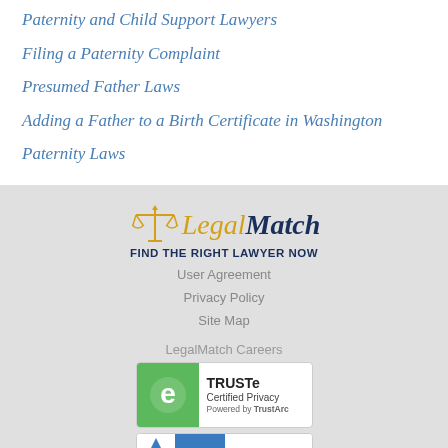Paternity and Child Support Lawyers
Filing a Paternity Complaint
Presumed Father Laws
Adding a Father to a Birth Certificate in Washington
Paternity Laws
[Figure (logo): LegalMatch logo with scales of justice icon, text 'LegalMatch FIND THE RIGHT LAWYER NOW']
User Agreement
Privacy Policy
Site Map
LegalMatch Careers
[Figure (other): TRUSTe Certified Privacy Powered by TrustArc badge]
[Figure (other): Second certification badge (partially visible)]